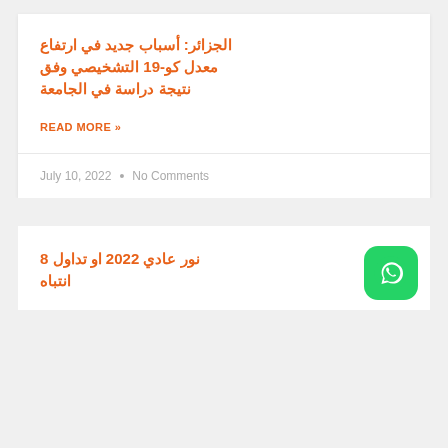الجزائر: أسباب جديد في ارتفاع معدل كو-19 التشخيصي وفق نتيجة دراسة في الجامعة
READ MORE »
July 10, 2022  •  No Comments
نور عادي 2022 او تداول 8 انتباه